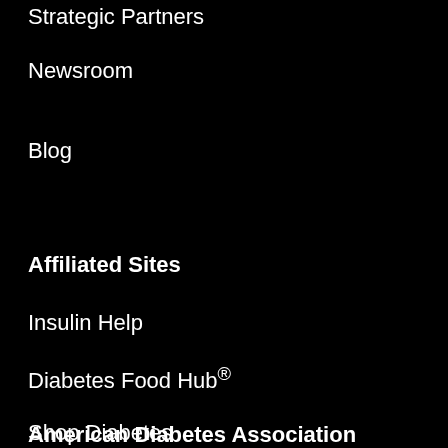Strategic Partners
Newsroom
Blog
Affiliated Sites
Insulin Help
Diabetes Food Hub®
Shop Diabetes
DiabetesPro®
Know Diabetes by Heart™
Focus on Diabetes™
Consumer Guide
American Diabetes Association